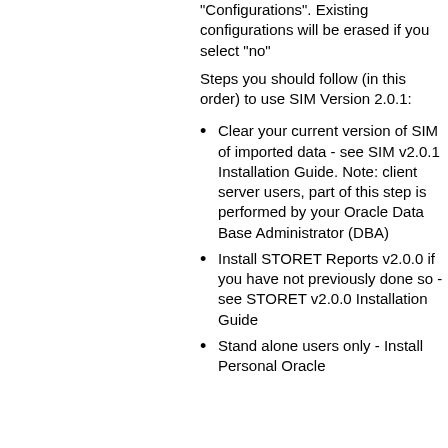"Configurations". Existing configurations will be erased if you select "no"
Steps you should follow (in this order) to use SIM Version 2.0.1:
Clear your current version of SIM of imported data - see SIM v2.0.1 Installation Guide. Note: client server users, part of this step is performed by your Oracle Data Base Administrator (DBA)
Install STORET Reports v2.0.0 if you have not previously done so - see STORET v2.0.0 Installation Guide
Stand alone users only - Install Personal Oracle